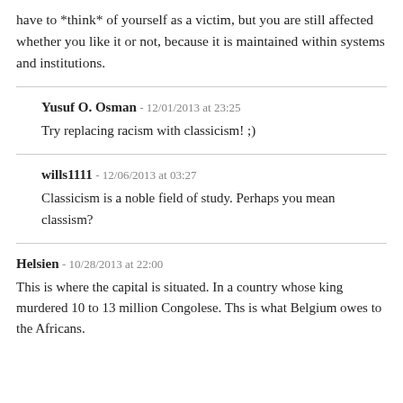have to *think* of yourself as a victim, but you are still affected whether you like it or not, because it is maintained within systems and institutions.
Yusuf O. Osman - 12/01/2013 at 23:25
Try replacing racism with classicism! ;)
wills1111 - 12/06/2013 at 03:27
Classicism is a noble field of study. Perhaps you mean classism?
Helsien - 10/28/2013 at 22:00
This is where the capital is situated. In a country whose king murdered 10 to 13 million Congolese. Ths is what Belgium owes to the Africans.